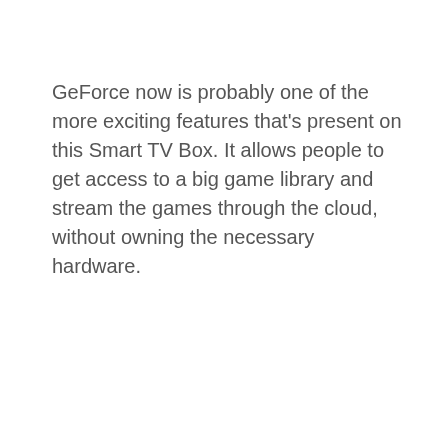GeForce now is probably one of the more exciting features that's present on this Smart TV Box. It allows people to get access to a big game library and stream the games through the cloud, without owning the necessary hardware.